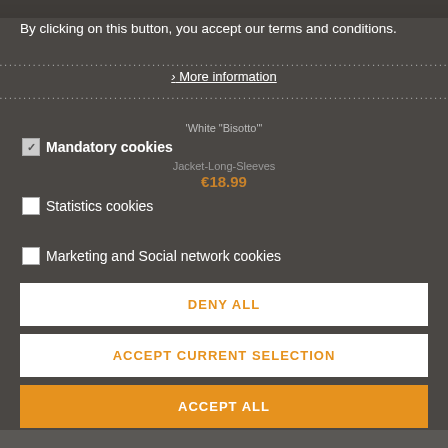By clicking on this button, you accept our terms and conditions.
....................................................
> More information
....................................................
'White "Bisotto"'
☑ Mandatory cookies
Jacket-Long-Sleeves
€18.99
☐ Statistics cookies
☐ Marketing and Social network cookies
DENY ALL
ACCEPT CURRENT SELECTION
ACCEPT ALL